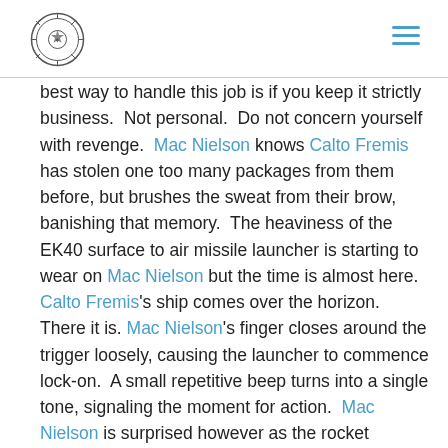[Logo and navigation hamburger menu]
best way to handle this job is if you keep it strictly business. Not personal. Do not concern yourself with revenge. Mac Nielson knows Calto Fremis has stolen one too many packages from them before, but brushes the sweat from their brow, banishing that memory. The heaviness of the EK40 surface to air missile launcher is starting to wear on Mac Nielson but the time is almost here. Calto Fremis's ship comes over the horizon. There it is. Mac Nielson's finger closes around the trigger loosely, causing the launcher to commence lock-on. A small repetitive beep turns into a single tone, signaling the moment for action. Mac Nielson is surprised however as the rocket launches behind them instead of in front due to user error. This mistake would sting Mac Nielson the most, if not for the tower of rocket fuel they have